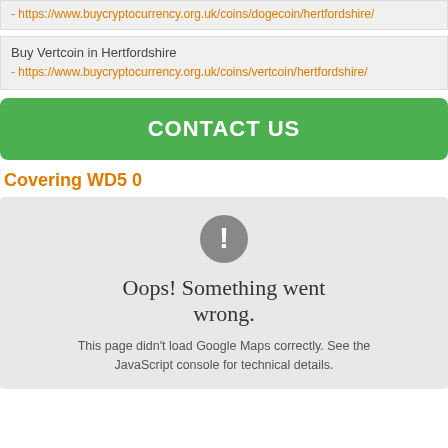- https://www.buycryptocurrency.org.uk/coins/dogecoin/hertfordshire/
Buy Vertcoin in Hertfordshire
- https://www.buycryptocurrency.org.uk/coins/vertcoin/hertfordshire/
CONTACT US
Covering WD5 0
[Figure (screenshot): Google Maps error widget showing exclamation mark icon and text: Oops! Something went wrong. This page didn't load Google Maps correctly. See the JavaScript console for technical details.]